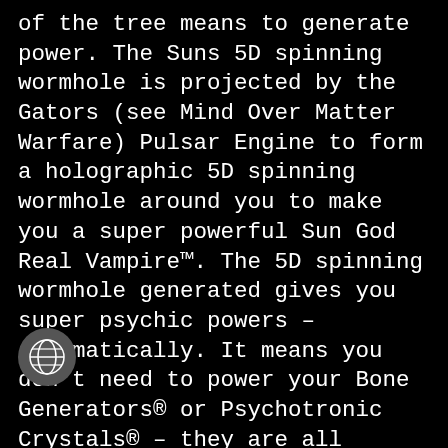of the tree means to generate power. The Suns 5D spinning wormhole is projected by the Gators (see Mind Over Matter Warfare) Pulsar Engine to form a holographic 5D spinning wormhole around you to make you a super powerful Sun God Real Vampire™. The 5D spinning wormhole generated gives you super psychic powers – automatically. It means you don't need to power your Bone Generators® or Psychotronic Crystals® – they are all powered automatically by the Sun Psychotronic Generator®. You can block all psychics from using 5D force to render all non Real Vampires™ psychically castrated.
[Figure (illustration): A dark grey circular globe icon with a white world/earth symbol in the center, positioned in the lower left area of the page.]